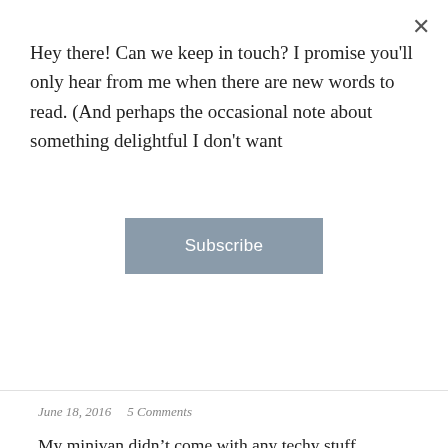Hey there! Can we keep in touch? I promise you'll only hear from me when there are new words to read. (And perhaps the occasional note about something delightful I don't want
Subscribe
June 18, 2016   5 Comments
My minivan didn’t come with any techy stuff, because at the time we purchased it, we were simply grateful to be buying a second car. Bare bones was fine with us—no media jacks, no DVD player, no automatic doors. Wheels, a solid engine, and a/c was all we needed, thank you Mr. Salesman.
Unfortunately, that means when it comes to music, our options are the radio or whatever CDs we have that still play without skipping. So yesterday morning, I did like I always do when I get tired of the local stations and fished